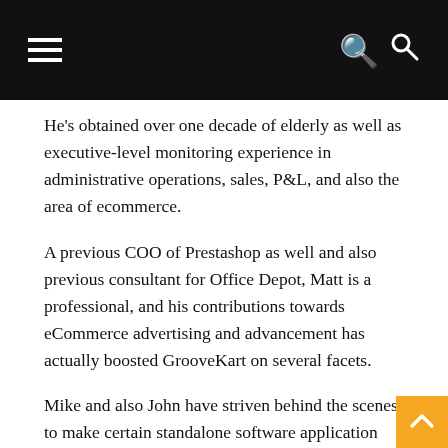He's obtained over one decade of elderly as well as executive-level monitoring experience in administrative operations, sales, P&L, and also the area of ecommerce.
A previous COO of Prestashop as well and also previous consultant for Office Depot, Matt is a professional, and his contributions towards eCommerce advertising and advancement has actually boosted GrooveKart on several facets.
Mike and also John have striven behind the scenes to make certain standalone software application tools like Kartra and also WebinarJam integrated in the GroovePages 2.0 offer.